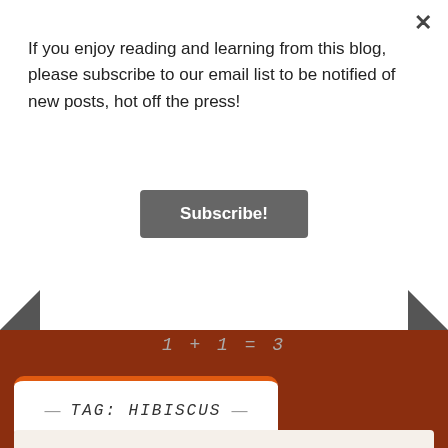If you enjoy reading and learning from this blog, please subscribe to our email list to be notified of new posts, hot off the press!
Subscribe!
TAG: HIBISCUS